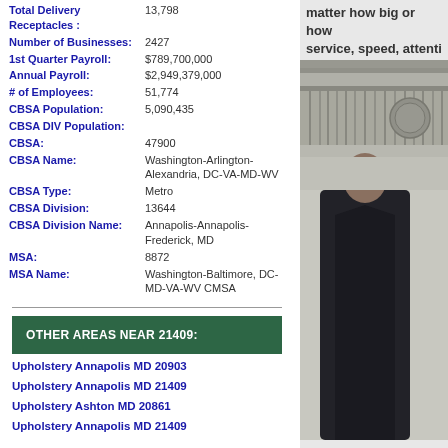| Field | Value |
| --- | --- |
| Total Delivery Receptacles: | 13,798 |
| Number of Businesses: | 2427 |
| 1st Quarter Payroll: | $789,700,000 |
| Annual Payroll: | $2,949,379,000 |
| # of Employees: | 51,774 |
| CBSA Population: | 5,090,435 |
| CBSA DIV Population: |  |
| CBSA: | 47900 |
| CBSA Name: | Washington-Arlington-Alexandria, DC-VA-MD-WV |
| CBSA Type: | Metro |
| CBSA Division: | 13644 |
| CBSA Division Name: | Annapolis-Annapolis-Frederick, MD |
| MSA: | 8872 |
| MSA Name: | Washington-Baltimore, DC-MD-VA-WV CMSA |
OTHER AREAS NEAR 21409:
Upholstery Annapolis MD 20903
Upholstery Annapolis MD 21409
Upholstery Ashton MD 20861
Upholstery Annapolis MD 21409
[Figure (photo): Photograph of a person in dark clothing standing in front of an architectural element with decorative columns and a medallion relief]